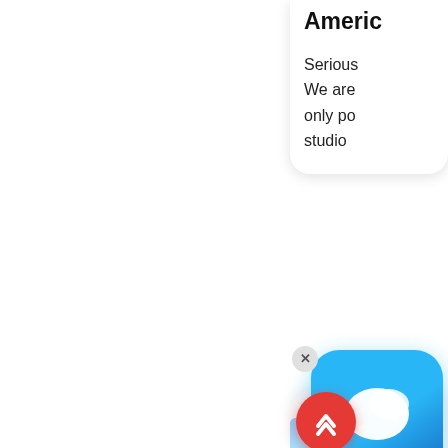Americ
Serious We are only po studio
[Figure (screenshot): Blue chat/messaging app icon with two speech bubbles, white on blue gradient background, rounded square shape, with an X close button in upper right.]
[Figure (photo): Thumbnail photo showing water/outdoor scene, partially visible.]
Mount & Alpine Archit In Tirol | Austria Tirol